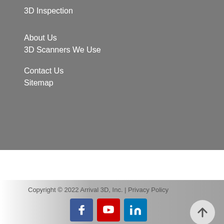3D Inspection
About Us
3D Scanners We Use
Contact Us
Sitemap
Copyright © 2022 Arrival 3D, Inc. | Privacy Policy